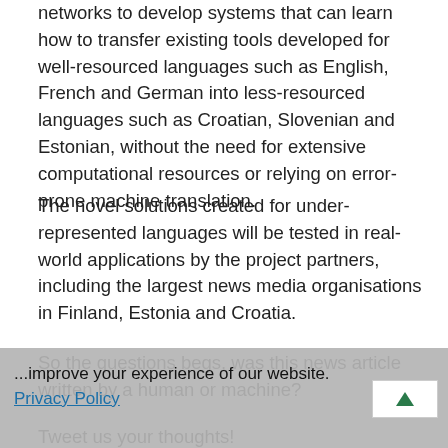networks to develop systems that can learn how to transfer existing tools developed for well-resourced languages such as English, French and German into less-resourced languages such as Croatian, Slovenian and Estonian, without the need for extensive computational resources or relying on error-prone machine translation.
The novel solutions created for under-represented languages will be tested in real-world applications by the project partners, including the largest news media organisations in Finland, Estonia and Croatia.
So the questions begs, was this news article written by a human or machine?
...improve your experience of our website. Privacy Policy
Tweet us your thoughts!